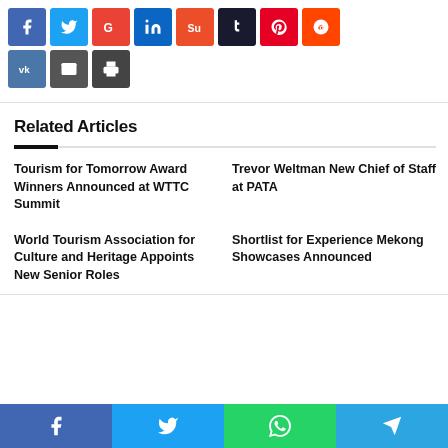[Figure (infographic): Social media share buttons: Facebook, Twitter, Google+, LinkedIn, StumbleUpon, Tumblr, Pinterest, Reddit (row 1); VK, Email, Print (row 2)]
Related Articles
Tourism for Tomorrow Award Winners Announced at WTTC Summit
Trevor Weltman New Chief of Staff at PATA
World Tourism Association for Culture and Heritage Appoints New Senior Roles
Shortlist for Experience Mekong Showcases Announced
[Figure (infographic): Bottom bar social share buttons: Facebook, Twitter, WhatsApp, Telegram]